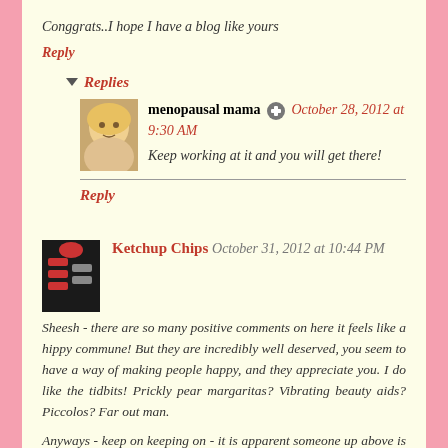Conggrats..I hope I have a blog like yours
Reply
Replies
menopausal mama  October 28, 2012 at 9:30 AM
Keep working at it and you will get there!
Reply
Ketchup Chips  October 31, 2012 at 10:44 PM
Sheesh - there are so many positive comments on here it feels like a hippy commune! But they are incredibly well deserved, you seem to have a way of making people happy, and they appreciate you. I do like the tidbits! Prickly pear margaritas? Vibrating beauty aids? Piccolos? Far out man.
Anyways - keep on keeping on - it is apparent someone up above is looking out for you. Probably through a pair of